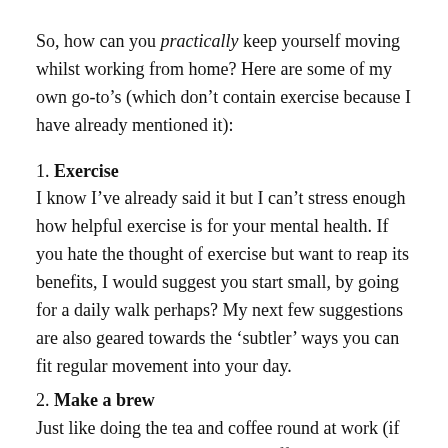So, how can you practically keep yourself moving whilst working from home? Here are some of my own go-to’s (which don’t contain exercise because I have already mentioned it):
1. Exercise
I know I’ve already said it but I can’t stress enough how helpful exercise is for your mental health. If you hate the thought of exercise but want to reap its benefits, I would suggest you start small, by going for a daily walk perhaps? My next few suggestions are also geared towards the ‘subtler’ ways you can fit regular movement into your day.
2. Make a brew
Just like doing the tea and coffee round at work (if you don’t do the rounds in your office, shame on you.), this is a discreet way to keep yourself mobile and take a